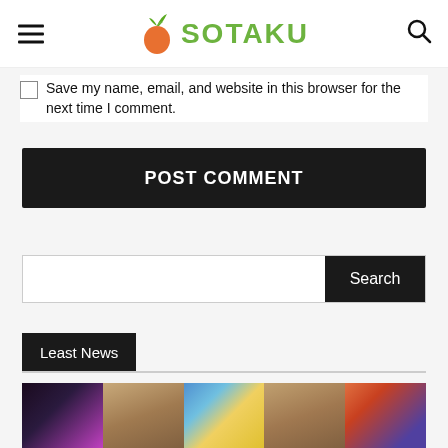SOTAKU
Save my name, email, and website in this browser for the next time I comment.
POST COMMENT
Search
Least News
[Figure (photo): Row of images showing anime characters and real people photos]